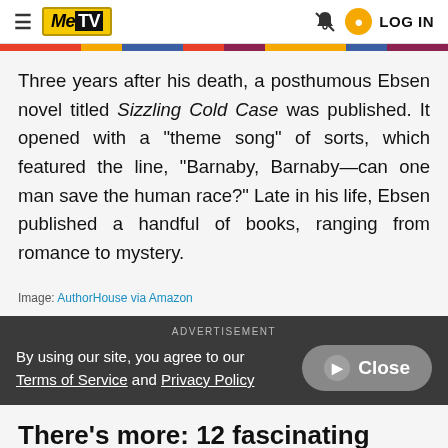≡ MeTV | LOG IN
Three years after his death, a posthumous Ebsen novel titled Sizzling Cold Case was published. It opened with a "theme song" of sorts, which featured the line, "Barnaby, Barnaby—can one man save the human race?" Late in his life, Ebsen published a handful of books, ranging from romance to mystery.
Image: AuthorHouse via Amazon
By using our site, you agree to our Terms of Service and Privacy Policy
There's more: 12 fascinating facts about Buddy Ebsen